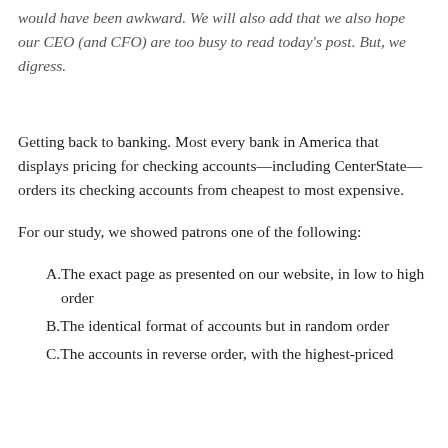would have been awkward. We will also add that we also hope our CEO (and CFO) are too busy to read today’s post. But, we digress.
Getting back to banking. Most every bank in America that displays pricing for checking accounts—including CenterState—orders its checking accounts from cheapest to most expensive.
For our study, we showed patrons one of the following:
A. The exact page as presented on our website, in low to high order
B. The identical format of accounts but in random order
C. The accounts in reverse order, with the highest-priced